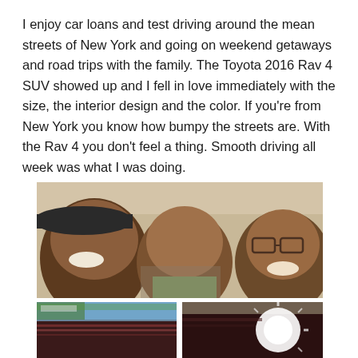I enjoy car loans and test driving around the mean streets of New York and going on weekend getaways and road trips with the family. The Toyota 2016 Rav 4  SUV showed up and I fell in love immediately with the size, the interior design and the color. If you're from New York you know how bumpy the streets are. With the Rav 4 you don't feel a thing. Smooth driving all week was what I was doing.
[Figure (photo): Selfie photo of three people (two adults and a child) smiling inside a vehicle. The photo is taken close up showing their faces.]
[Figure (photo): Close-up photo of the side/exterior of a dark red/maroon SUV vehicle with reflections visible.]
[Figure (photo): Photo of a dark-colored SUV exterior with bright sunlight reflection/glare visible.]